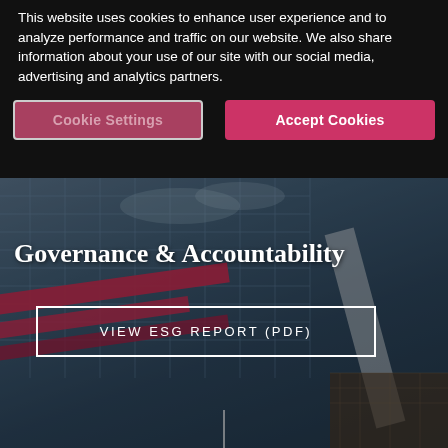This website uses cookies to enhance user experience and to analyze performance and traffic on our website. We also share information about your use of our site with our social media, advertising and analytics partners.
Cookie Settings
Accept Cookies
[Figure (photo): Aerial/angled view of a glass and steel modern building with red structural elements, used as hero background image]
Governance & Accountability
VIEW ESG REPORT (PDF)